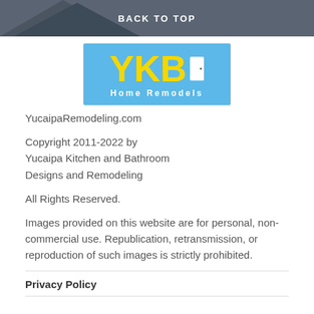BACK TO TOP
[Figure (logo): YKB Home Remodels logo on blue background with yellow letters and white door icon]
YucaipaRemodeling.com
Copyright 2011-2022 by Yucaipa Kitchen and Bathroom Designs and Remodeling
All Rights Reserved.
Images provided on this website are for personal, non-commercial use. Republication, retransmission, or reproduction of such images is strictly prohibited.
Privacy Policy